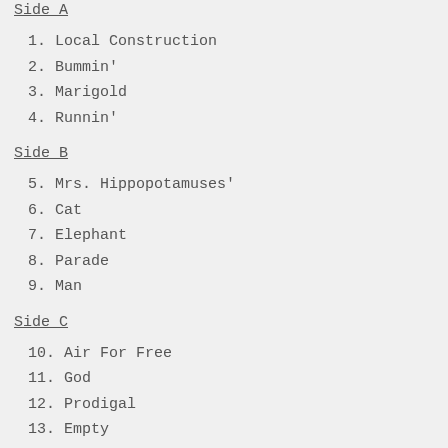Side A
1.  Local Construction
2.  Bummin'
3.  Marigold
4.  Runnin'
Side B
5.  Mrs. Hippopotamuses'
6.  Cat
7.  Elephant
8.  Parade
9.  Man
Side C
10. Air For Free
11. God
12. Prodigal
13. Empty